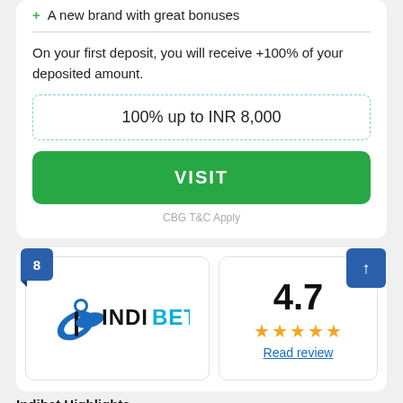+ A new brand with great bonuses
On your first deposit, you will receive +100% of your deposited amount.
100% up to INR 8,000
VISIT
CBG T&C Apply
[Figure (logo): Indibet logo with blue feather/cricket ball icon and INDIBET text in black and teal]
4.7
★★★★★
Read review
Indibet Highlights